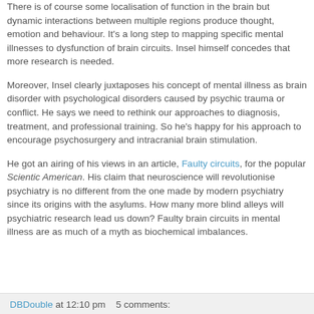There is of course some localisation of function in the brain but dynamic interactions between multiple regions produce thought, emotion and behaviour. It's a long step to mapping specific mental illnesses to dysfunction of brain circuits. Insel himself concedes that more research is needed.
Moreover, Insel clearly juxtaposes his concept of mental illness as brain disorder with psychological disorders caused by psychic trauma or conflict. He says we need to rethink our approaches to diagnosis, treatment, and professional training. So he's happy for his approach to encourage psychosurgery and intracranial brain stimulation.
He got an airing of his views in an article, Faulty circuits, for the popular Scientic American. His claim that neuroscience will revolutionise psychiatry is no different from the one made by modern psychiatry since its origins with the asylums. How many more blind alleys will psychiatric research lead us down? Faulty brain circuits in mental illness are as much of a myth as biochemical imbalances.
DBDouble at 12:10 pm   5 comments: